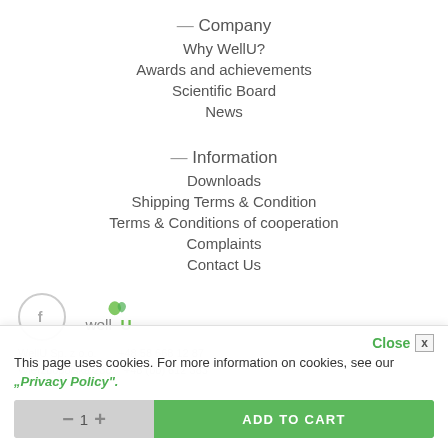— Company
Why WellU?
Awards and achievements
Scientific Board
News
— Information
Downloads
Shipping Terms & Condition
Terms & Conditions of cooperation
Complaints
Contact Us
[Figure (logo): WellU logo with green leaf icon and stylized text]
[Figure (logo): Facebook social icon circle]
WellU Sp. z o.o.   +48 58 668 12 87
Wierzbopolska 230   +48 (00) 612 383
This page uses cookies. For more information on cookies, see our "Privacy Policy".
Close x
ADD TO CART